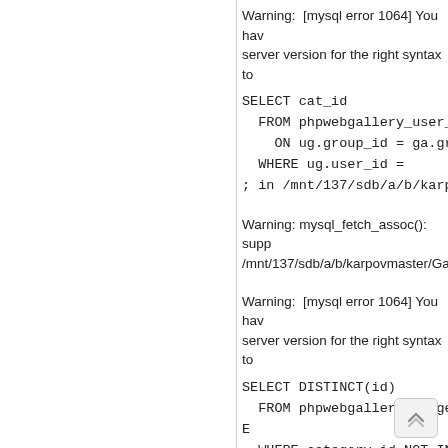Warning:  [mysql error 1064] You have an error in your SQL syntax; check the manual that corresponds to your MySQL server version for the right syntax to use near
SELECT cat_id
  FROM phpwebgallery_user_group A
    ON ug.group_id = ga.group_id
  WHERE ug.user_id =
; in /mnt/137/sdb/a/b/karpovmaster/G
Warning: mysql_fetch_assoc(): supplied argument is not a valid MySQL result resource in /mnt/137/sdb/a/b/karpovmaster/Gale
Warning:  [mysql error 1064] You have an error in your SQL syntax; check the manual that corresponds to your MySQL server version for the right syntax to use near
SELECT DISTINCT(id)
  FROM phpwebgallery_images INNE
  WHERE category_id NOT IN
(1,2,4,5,6,7,8,9,10,13,17,35,36,39,40
    AND level> in /mnt/137/sdb/a/b/ka